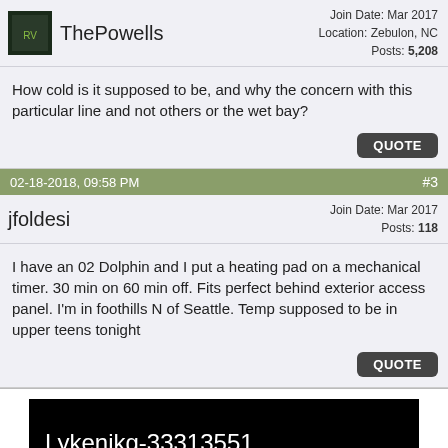ThePowells — Join Date: Mar 2017, Location: Zebulon, NC, Posts: 5,208
How cold is it supposed to be, and why the concern with this particular line and not others or the wet bay?
02-18-2018, 09:58 PM  #3
jfoldesi — Join Date: Mar 2017, Posts: 118
I have an 02 Dolphin and I put a heating pad on a mechanical timer. 30 min on 60 min off. Fits perfect behind exterior access panel. I'm in foothills N of Seattle. Temp supposed to be in upper teens tonight
[Figure (screenshot): Black video thumbnail with text 'Lykenikg-33313551']